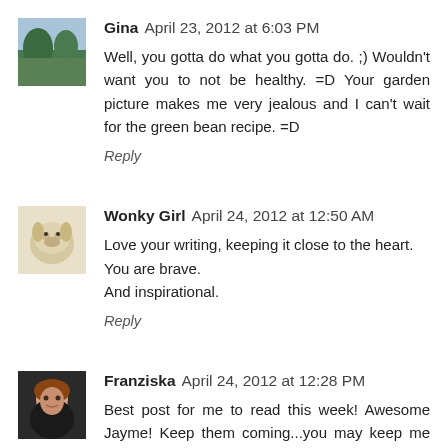[Figure (photo): Avatar image of Gina - landscape/mountains photo thumbnail]
Gina April 23, 2012 at 6:03 PM
Well, you gotta do what you gotta do. ;) Wouldn't want you to not be healthy. =D Your garden picture makes me very jealous and I can't wait for the green bean recipe. =D
Reply
[Figure (photo): Avatar image of Wonky Girl - white fluffy dog photo thumbnail]
Wonky Girl April 24, 2012 at 12:50 AM
Love your writing, keeping it close to the heart.
You are brave.
And inspirational.
Reply
[Figure (photo): Avatar image of Franziska - woman portrait photo thumbnail]
Franziska April 24, 2012 at 12:28 PM
Best post for me to read this week! Awesome Jayme! Keep them coming...you may keep me out of the nut house ;)
Reply